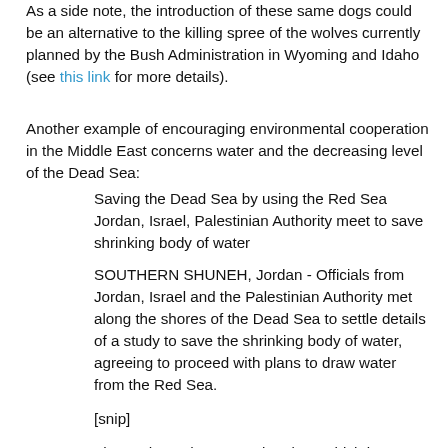As a side note, the introduction of these same dogs could be an alternative to the killing spree of the wolves currently planned by the Bush Administration in Wyoming and Idaho (see this link for more details).
Another example of encouraging environmental cooperation in the Middle East concerns water and the decreasing level of the Dead Sea:
Saving the Dead Sea by using the Red Sea Jordan, Israel, Palestinian Authority meet to save shrinking body of water
SOUTHERN SHUNEH, Jordan - Officials from Jordan, Israel and the Palestinian Authority met along the shores of the Dead Sea to settle details of a study to save the shrinking body of water, agreeing to proceed with plans to draw water from the Red Sea.
[snip]
The Red-Dead Sea canal project, which is expected to cost more than $1 billion, could be...